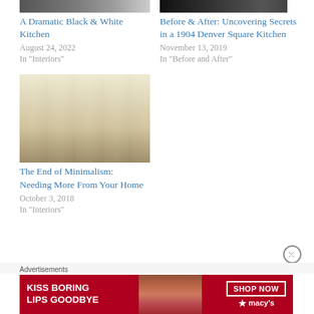[Figure (photo): Cropped top of a black and white kitchen image]
A Dramatic Black & White Kitchen
August 24, 2022
In "Interiors"
[Figure (photo): Cropped top of a dark kitchen photo]
Before & After: Uncovering Secrets in a 1904 Denver Square Kitchen
November 13, 2019
In "Before and After"
[Figure (photo): A bright, traditional kitchen with white cabinets, glass-front upper cabinets, wooden chairs, and a kitchen island]
The End of Minimalism: Needing More From Your Home
October 3, 2018
In "Interiors"
Advertisements
[Figure (photo): Macy's advertisement banner: KISS BORING LIPS GOODBYE with a woman's face and red lips, SHOP NOW button and Macy's star logo]